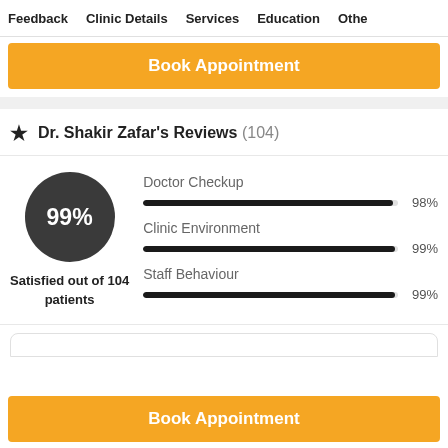Feedback  Clinic Details  Services  Education  Other
Book Appointment
Dr. Shakir Zafar's Reviews (104)
[Figure (infographic): Rating summary showing 99% satisfied out of 104 patients, with bar charts: Doctor Checkup 98%, Clinic Environment 99%, Staff Behaviour 99%]
Book Appointment